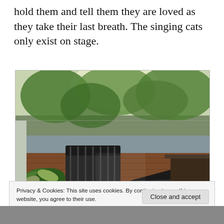hold them and tell them they are loved as they take their last breath. The singing cats only exist on stage.
[Figure (photo): A covered outdoor veranda or porch with a dark wooden slatted floor, wicker/plastic garden chairs, a potted plant with variegated leaves, wooden furniture including what appears to be a sun lounger and table, and lush tropical greenery visible through the screened or open walls in the background.]
Privacy & Cookies: This site uses cookies. By continuing to use this website, you agree to their use.
To find out more, including how to control cookies, see here: Cookie Policy
Close and accept